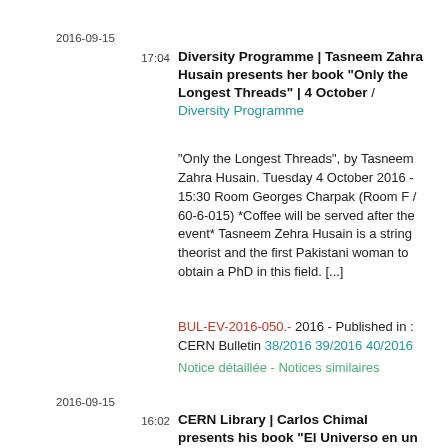2016-09-15
17:04
Diversity Programme | Tasneem Zahra Husain presents her book "Only the Longest Threads" | 4 October / Diversity Programme
"Only the Longest Threads", by Tasneem Zahra Husain. Tuesday 4 October 2016 - 15:30 Room Georges Charpak (Room F / 60-6-015) *Coffee will be served after the event* Tasneem Zehra Husain is a string theorist and the first Pakistani woman to obtain a PhD in this field. [...]
BUL-EV-2016-050.- 2016 - Published in : CERN Bulletin 38/2016 39/2016 40/2016
Notice détaillée - Notices similaires
2016-09-15
16:02
CERN Library | Carlos Chimal presents his book "El Universo en un puñado de átomos" | 26 September / CERN Library
"El Universo en un puñado de átomos", by Carlos